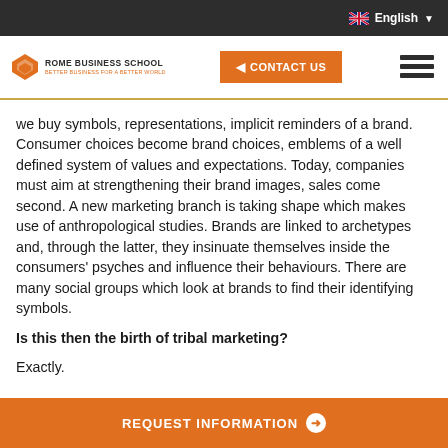English
[Figure (logo): Rome Business School logo with orange geometric icon and tagline 'Better Business for a Better World']
we buy symbols, representations, implicit reminders of a brand. Consumer choices become brand choices, emblems of a well defined system of values and expectations. Today, companies must aim at strengthening their brand images, sales come second. A new marketing branch is taking shape which makes use of anthropological studies. Brands are linked to archetypes and, through the latter, they insinuate themselves inside the consumers' psyches and influence their behaviours. There are many social groups which look at brands to find their identifying symbols.
Is this then the birth of tribal marketing?
Exactly.
REQUEST INFORMATION